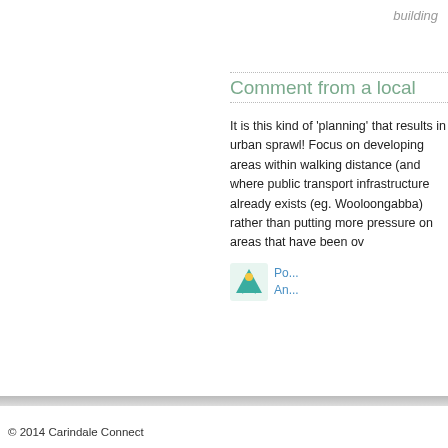building
Comment from a local
It is this kind of 'planning' that results in urban sprawl! Focus on developing areas within walking distance (and where public transport infrastructure already exists (eg. Wooloongabba) rather than putting more pressure on areas that have been ov...
[Figure (logo): Small teal/green avatar icon with triangle shape]
Po... An...
© 2014 Carindale Connect